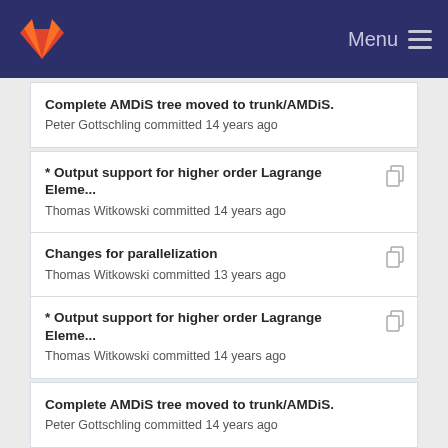Menu
Complete AMDiS tree moved to trunk/AMDiS.
Peter Gottschling committed 14 years ago
* Output support for higher order Lagrange Eleme...
Thomas Witkowski committed 14 years ago
Changes for parallelization
Thomas Witkowski committed 13 years ago
* Output support for higher order Lagrange Eleme...
Thomas Witkowski committed 14 years ago
Complete AMDiS tree moved to trunk/AMDiS.
Peter Gottschling committed 14 years ago